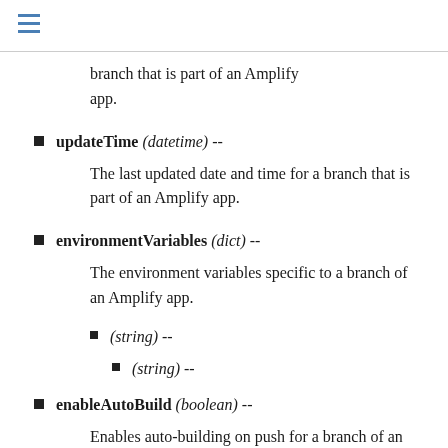branch that is part of an Amplify app.
updateTime (datetime) -- The last updated date and time for a branch that is part of an Amplify app.
environmentVariables (dict) -- The environment variables specific to a branch of an Amplify app.
(string) --
(string) --
enableAutoBuild (boolean) -- Enables auto-building on push for a branch of an Amplify app.
customDomains (list) --